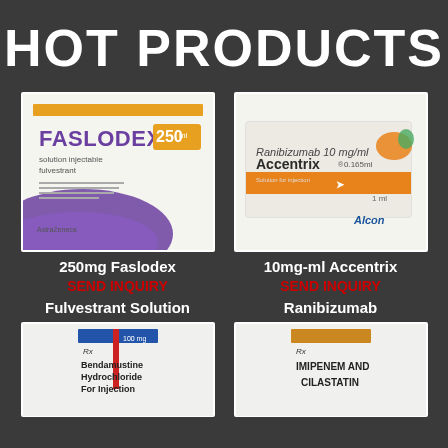HOT PRODUCTS
[Figure (photo): Faslodex 250mg solution injectable fulvestrant medication box by AstraZeneca]
[Figure (photo): Accentrix Ranibizumab 10 mg/ml solution for injection by Alcon]
250mg Faslodex Fulvestrant Solution
SEND INQUIRY
10mg-ml Accentrix Ranibizumab
SEND INQUIRY
[Figure (photo): Bendamustine Hydrochloride For Injection medication box]
[Figure (photo): Imipenem and Cilastatin medication box]